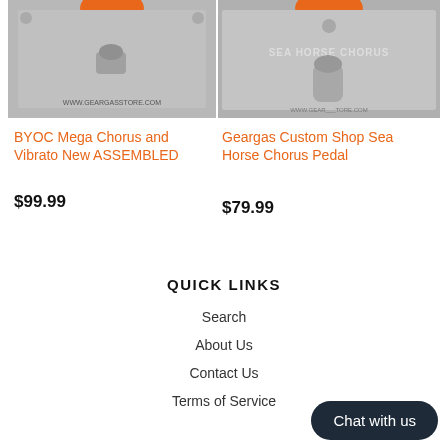[Figure (photo): Close-up photo of a guitar effect pedal enclosure (BYOC Mega Chorus and Vibrato) showing orange knob at top and a silver toggle switch, with text www.geargasstore.com at bottom]
[Figure (photo): Close-up photo of the Sea Horse Chorus guitar effect pedal with text SEA HORSE CHORUS on the face, a silver toggle switch, and www.geargasstore.com watermark]
BYOC Mega Chorus and Vibrato New ASSEMBLED
$99.99
Geargas Custom Shop Sea Horse Chorus Pedal
$79.99
QUICK LINKS
Search
About Us
Contact Us
Terms of Service
Chat with us